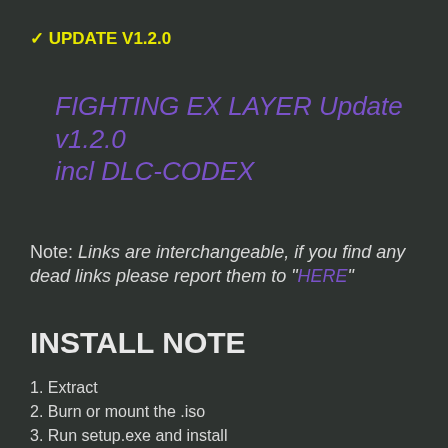✓ UPDATE V1.2.0
FIGHTING EX LAYER Update v1.2.0 incl DLC-CODEX
Note: Links are interchangeable, if you find any dead links please report them to "HERE"
INSTALL NOTE
1. Extract
2. Burn or mount the .iso
3. Run setup.exe and install
4. Copy crack from CODEX dir to installdir
5. Play